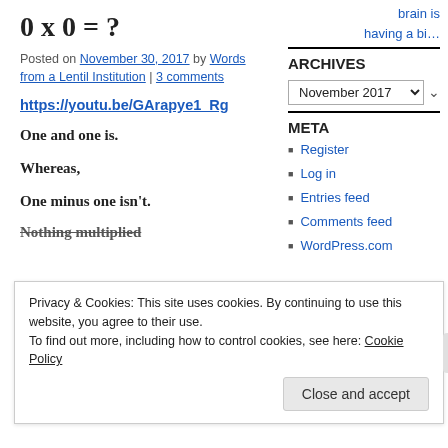brain is having a bi…
0 x 0 = ?
Posted on November 30, 2017 by Words from a Lentil Institution | 3 comments
https://youtu.be/GArapye1_Rg
One and one is.
Whereas,
One minus one isn't.
Nothing multiplied
ARCHIVES
November 2017
META
Register
Log in
Entries feed
Comments feed
WordPress.com
Privacy & Cookies: This site uses cookies. By continuing to use this website, you agree to their use. To find out more, including how to control cookies, see here: Cookie Policy
Close and accept